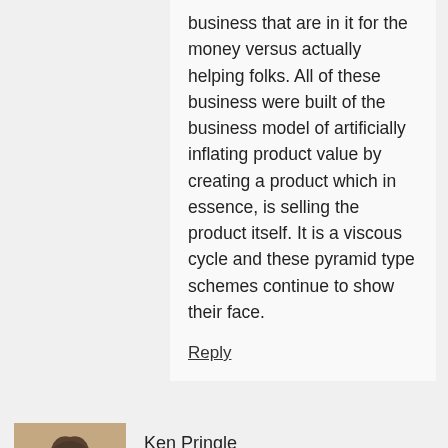business that are in it for the money versus actually helping folks. All of these business were built of the business model of artificially inflating product value by creating a product which in essence, is selling the product itself. It is a viscous cycle and these pyramid type schemes continue to show their face.
Reply
Ken Pringle
July 6, 2014 at 3:46 pm
Kyle great review.